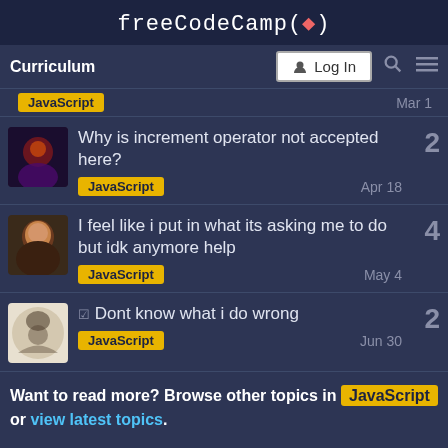freeCodeCamp(🔥)
[Figure (screenshot): Navigation bar with Curriculum link, Log In button, search icon, and hamburger menu]
JavaScript | Mar 1 (partial/cropped top item)
Why is increment operator not accepted here? | JavaScript | Apr 18 | 2 replies
I feel like i put in what its asking me to do but idk anymore help | JavaScript | May 4 | 4 replies
☑ Dont know what i do wrong | JavaScript | Jun 30 | 2 replies
Want to read more? Browse other topics in JavaScript or view latest topics.